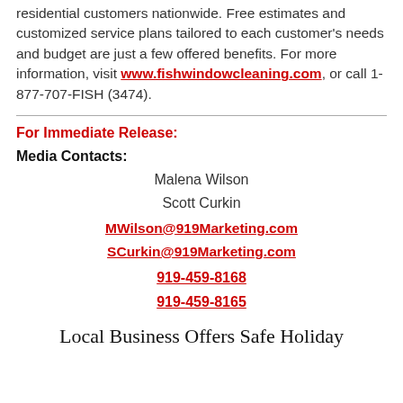residential customers nationwide. Free estimates and customized service plans tailored to each customer's needs and budget are just a few offered benefits. For more information, visit www.fishwindowcleaning.com, or call 1-877-707-FISH (3474).
For Immediate Release:
Media Contacts:
Malena Wilson
Scott Curkin
MWilson@919Marketing.com
SCurkin@919Marketing.com
919-459-8168
919-459-8165
Local Business Offers Safe Holiday